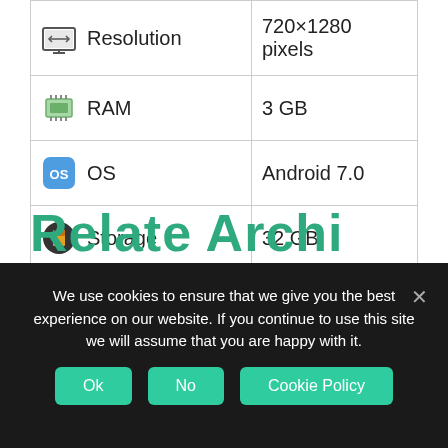| Spec | Value |
| --- | --- |
| Resolution | 720×1280 pixels |
| RAM | 3 GB |
| OS | Android 7.0 |
| Storage | 32 GB |
| Battrey | 2800 mAh |
Relate Archi...
We use cookies to ensure that we give you the best experience on our website. If you continue to use this site we will assume that you are happy with it.